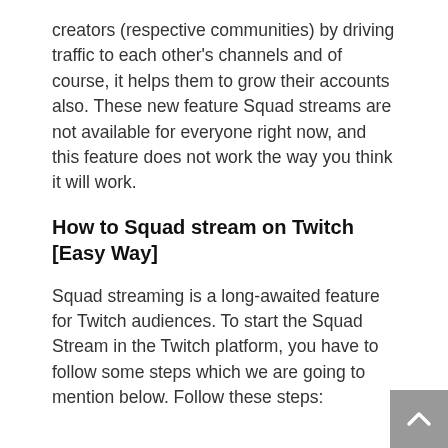creators (respective communities) by driving traffic to each other's channels and of course, it helps them to grow their accounts also. These new feature Squad streams are not available for everyone right now, and this feature does not work the way you think it will work.
How to Squad stream on Twitch [Easy Way]
Squad streaming is a long-awaited feature for Twitch audiences. To start the Squad Stream in the Twitch platform, you have to follow some steps which we are going to mention below. Follow these steps: